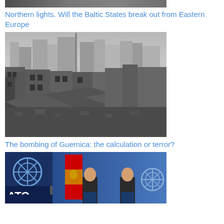[Figure (photo): Partially visible image at the very top of the page, cropped]
Northern lights. Will the Baltic States break out from Eastern Europe
[Figure (photo): Black and white aerial photograph of a bombed-out city, showing extensive destruction of buildings and rubble]
The bombing of Guernica: the calculation or terror?
[Figure (photo): Color photograph of two men in suits standing at podiums in front of a NATO flag and a Montenegrin flag at a press conference]